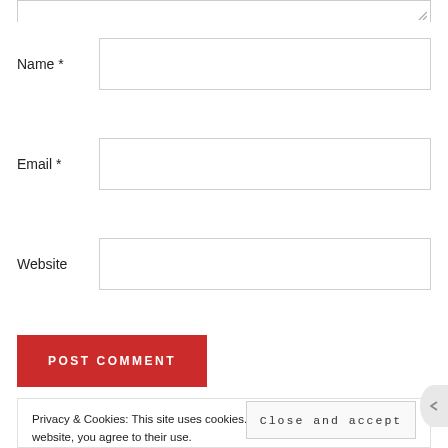[Figure (screenshot): Partial textarea input field at the top of the page]
Name *
Email *
Website
POST COMMENT
Privacy & Cookies: This site uses cookies. By continuing to use this website, you agree to their use.
To find out more, including how to control cookies, see here: Cookie Policy
Close and accept